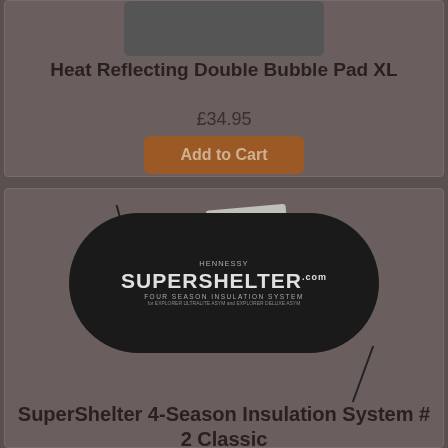Heat Reflecting Double Bubble Pad XL
£34.95
Add to Cart
[Figure (photo): Hennessy SuperShelter 4-Season Insulation System product bag, black cylindrical bag with white text, with a product tag in the background]
SuperShelter 4-Season Insulation System # 2 Classic
£129.95
Add to Cart